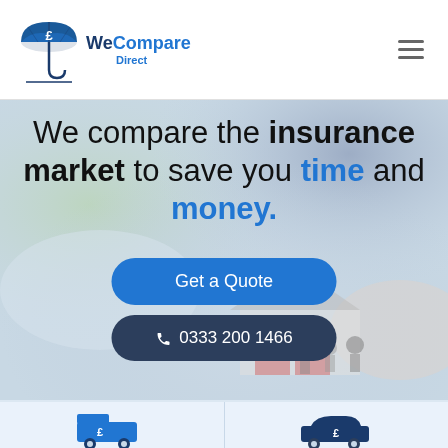[Figure (logo): WeCompare Direct logo — blue umbrella with £ symbol, company name in dark blue and blue text]
We compare the insurance market to save you time and money.
Get a Quote
☎ 0333 200 1466
[Figure (photo): Blurred background showing hands over a model house with a family and car, representing insurance comparison]